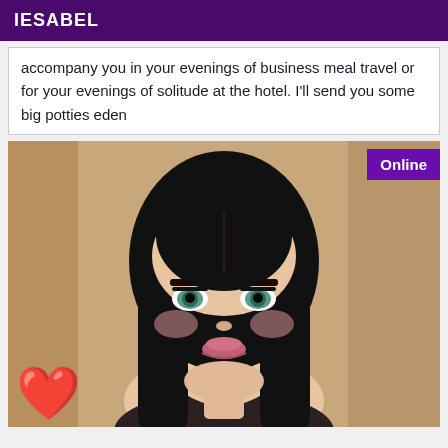IESABEL
accompany you in your evenings of business meal travel or for your evenings of solitude at the hotel. I'll send you some big potties eden
[Figure (photo): Portrait photo of a young woman with long straight black hair and blue-green eyes, wearing minimal clothing, smiling slightly. A red heart emoji is overlaid in the bottom-left corner. An 'Online' badge appears in the top-right corner.]